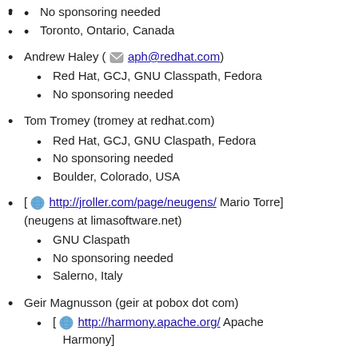No sponsoring needed
Toronto, Ontario, Canada
Andrew Haley ( aph@redhat.com )
Red Hat, GCJ, GNU Classpath, Fedora
No sponsoring needed
Tom Tromey (tromey at redhat.com)
Red Hat, GCJ, GNU Claspath, Fedora
No sponsoring needed
Boulder, Colorado, USA
[ http://jroller.com/page/neugens/ Mario Torre] (neugens at limasoftware.net)
GNU Claspath
No sponsoring needed
Salerno, Italy
Geir Magnusson (geir at pobox dot com)
[ http://harmony.apache.org/ Apache Harmony]